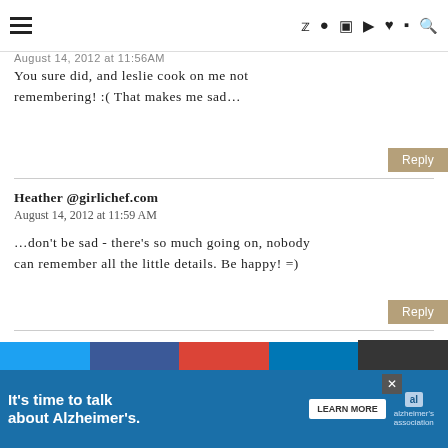Navigation bar with hamburger menu and social icons
You sure did, and leslie cook on me not remembering! :( That makes me sad...
Reply
Heather @girlichef.com
August 14, 2012 at 11:59 AM
...don't be sad - there's so much going on, nobody can remember all the little details. Be happy! =)
Reply
teresa
August 14, 2012 at 2:39 PM
WOW! i think you'd have to be crazy NOT to w...
It's time to talk about Alzheimer's. LEARN MORE